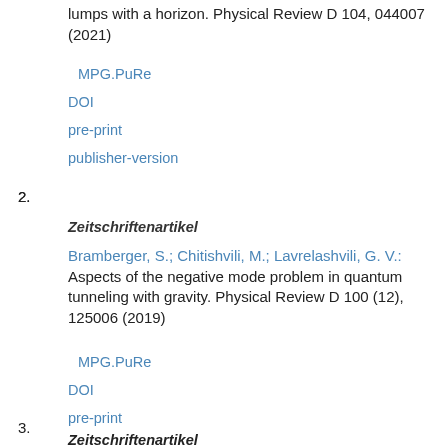lumps with a horizon. Physical Review D 104, 044007 (2021)
MPG.PuRe
DOI
pre-print
publisher-version
2. Zeitschriftenartikel
Bramberger, S.; Chitishvili, M.; Lavrelashvili, G. V.: Aspects of the negative mode problem in quantum tunneling with gravity. Physical Review D 100 (12), 125006 (2019)
MPG.PuRe
DOI
pre-print
3. Zeitschriftenartikel